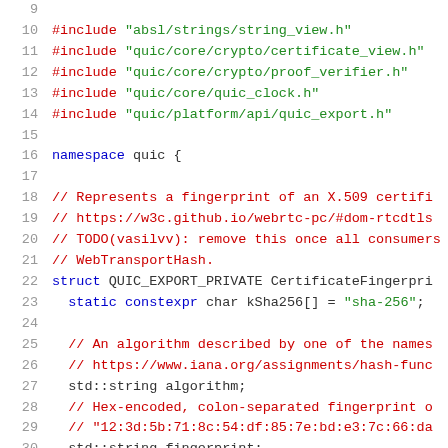[Figure (screenshot): Source code screenshot showing C++ header includes and the beginning of a CertificateFingerprint struct definition in a QUIC namespace, with line numbers 9-30 visible.]